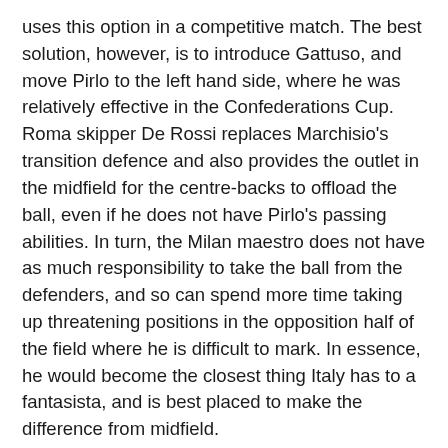uses this option in a competitive match. The best solution, however, is to introduce Gattuso, and move Pirlo to the left hand side, where he was relatively effective in the Confederations Cup. Roma skipper De Rossi replaces Marchisio's transition defence and also provides the outlet in the midfield for the centre-backs to offload the ball, even if he does not have Pirlo's passing abilities. In turn, the Milan maestro does not have as much responsibility to take the ball from the defenders, and so can spend more time taking up threatening positions in the opposition half of the field where he is difficult to mark. In essence, he would become the closest thing Italy has to a fantasista, and is best placed to make the difference from midfield.

The September qualifying games, away to Georgia and at home to Bulgaria, will give a greater insight into the direction Lippi is taking his team in the run-up to the World Cup. Despite his rather silly attempt at playing down the influence of the Confederations Cup debacle – he claims he had these changes